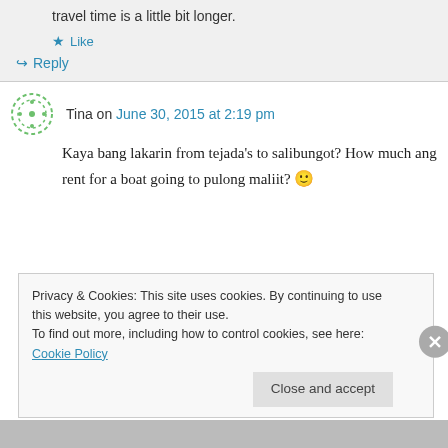travel time is a little bit longer.
★ Like
↪ Reply
Tina on June 30, 2015 at 2:19 pm
Kaya bang lakarin from tejada's to salibungot? How much ang rent for a boat going to pulong maliit? 🙂
Privacy & Cookies: This site uses cookies. By continuing to use this website, you agree to their use.
To find out more, including how to control cookies, see here: Cookie Policy
Close and accept